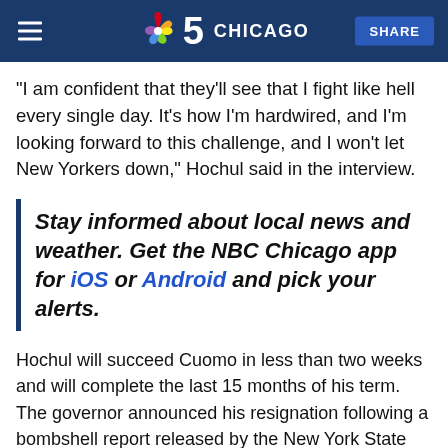NBC 5 Chicago | SHARE
"I am confident that they'll see that I fight like hell every single day. It's how I'm hardwired, and I'm looking forward to this challenge, and I won't let New Yorkers down," Hochul said in the interview.
Stay informed about local news and weather. Get the NBC Chicago app for iOS or Android and pick your alerts.
Hochul will succeed Cuomo in less than two weeks and will complete the last 15 months of his term. The governor announced his resignation following a bombshell report released by the New York State Attorney General's office that